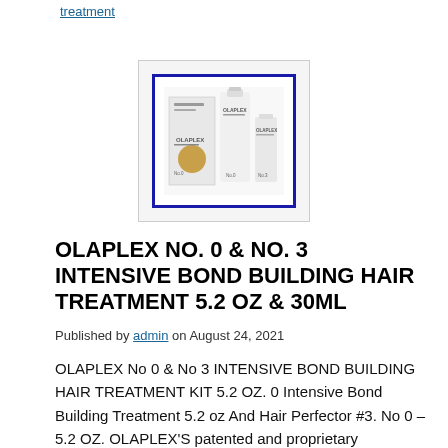treatment
[Figure (photo): Product photo of Olaplex No. 0 & No. 3 Intensive Bond Building Hair Treatment kit, showing multiple bottles/containers inside a white box with a blue border frame overlay]
OLAPLEX No. 0 & No. 3 INTENSIVE BOND BUILDING HAIR TREATMENT 5.2 OZ & 30ML
Published by admin on August 24, 2021
OLAPLEX No 0 & No 3 INTENSIVE BOND BUILDING HAIR TREATMENT KIT 5.2 OZ. 0 Intensive Bond Building Treatment 5.2 oz And Hair Perfector #3. No 0 – 5.2 OZ. OLAPLEX'S patented and proprietary technology is a proven hair reparative system trusted by stylists worldwide. This intensive, bond-building treatment is best used as a two-